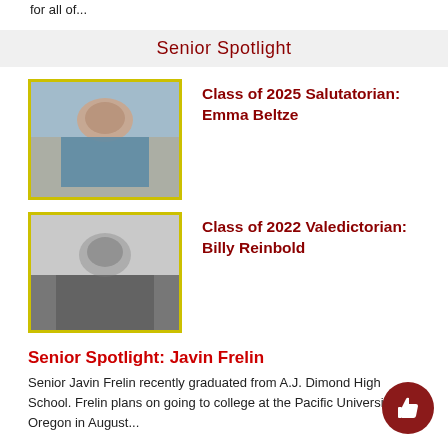for all of...
Senior Spotlight
[Figure (photo): Color photo of Emma Beltze, a young woman lying down holding a phone, wearing a striped shirt]
Class of 2025 Salutatorian: Emma Beltze
[Figure (photo): Black and white photo of Billy Reinbold, a young man smiling, wearing a plaid shirt]
Class of 2022 Valedictorian: Billy Reinbold
Senior Spotlight: Javin Frelin
Senior Javin Frelin recently graduated from A.J. Dimond High School. Frelin plans on going to college at the Pacific University of Oregon in August...